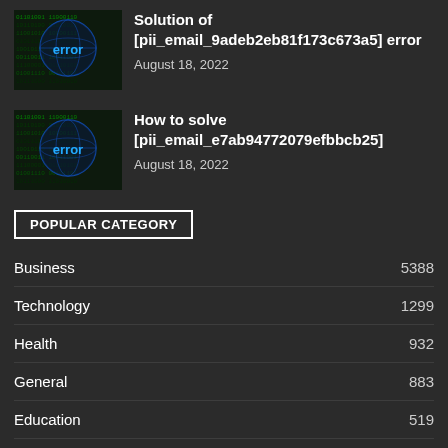[Figure (photo): Dark themed image showing binary/code matrix background with glowing 'error' text in blue/green tones]
Solution of [pii_email_9adeb2eb81f173c673a5] error
August 18, 2022
[Figure (photo): Dark themed image showing binary/code matrix background with glowing 'error' text in blue/green tones]
How to solve [pii_email_e7ab94772079efbbcb25]
August 18, 2022
POPULAR CATEGORY
Business  5388
Technology  1299
Health  932
General  883
Education  519
Digital Marketing  480